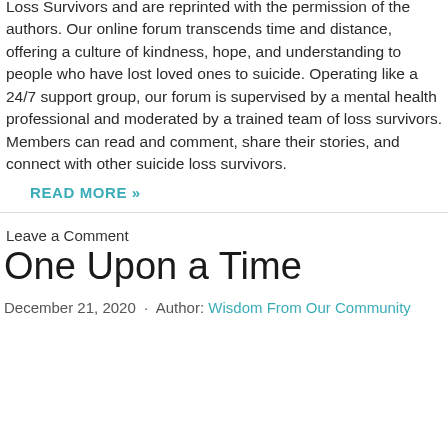Loss Survivors and are reprinted with the permission of the authors. Our online forum transcends time and distance, offering a culture of kindness, hope, and understanding to people who have lost loved ones to suicide. Operating like a 24/7 support group, our forum is supervised by a mental health professional and moderated by a trained team of loss survivors. Members can read and comment, share their stories, and connect with other suicide loss survivors.
READ MORE »
Leave a Comment
One Upon a Time
December 21, 2020  ·  Author: Wisdom From Our Community